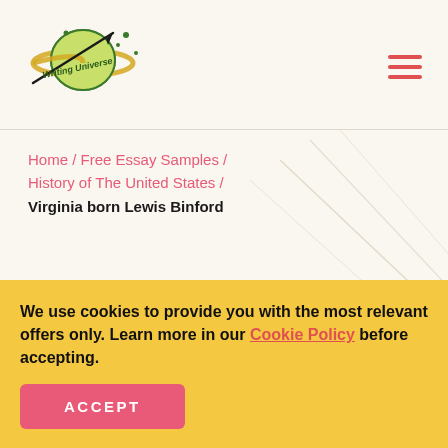[Figure (logo): Writing Universe logo: a cartoon planet with rings and stars, with italic text 'Writing Universe']
Home / Free Essay Samples / History of The United States / Virginia born Lewis Binford
Virginia born Lewis Binford
We use cookies to provide you with the most relevant offers only. Learn more in our Cookie Policy before accepting.